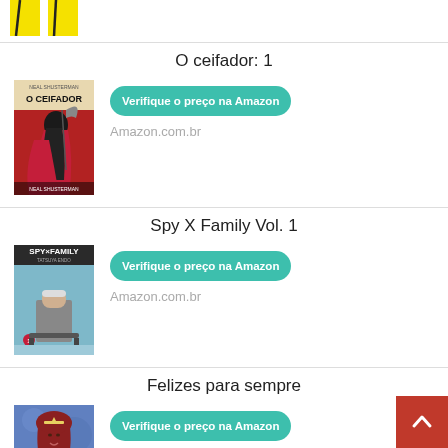[Figure (illustration): Partial tops of two yellow book covers visible at top of page]
O ceifador: 1
[Figure (illustration): Book cover of O Ceifador by Neal Shusterman - red and cream art deco style with hooded figure]
Verifique o preço na Amazon
Amazon.com.br
Spy X Family Vol. 1
[Figure (illustration): Book cover of Spy x Family Vol 1 - manga cover with character in suit sitting]
Verifique o preço na Amazon
Amazon.com.br
Felizes para sempre
[Figure (photo): Book cover showing a woman with red hair and tiara]
Verifique o preço na Amazon